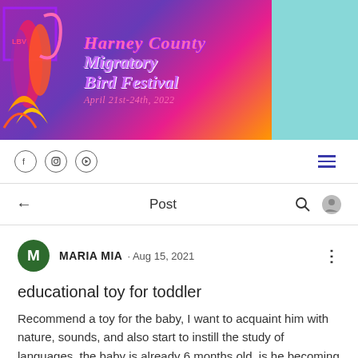[Figure (logo): Harney County Migratory Bird Festival logo with colorful flame/bird graphic and cursive text reading 'Harney County Migratory Bird Festival, April 21st-24th, 2022']
Social media icons (Facebook, Instagram, YouTube) and hamburger menu
← Post (navigation bar with back arrow, Post label, search and profile icons)
MARIA MIA · Aug 15, 2021
educational toy for toddler
Recommend a toy for the baby, I want to acquaint him with nature, sounds, and also start to instill the study of languages, the baby is already 6 months old, is he becoming interested in the world around him?